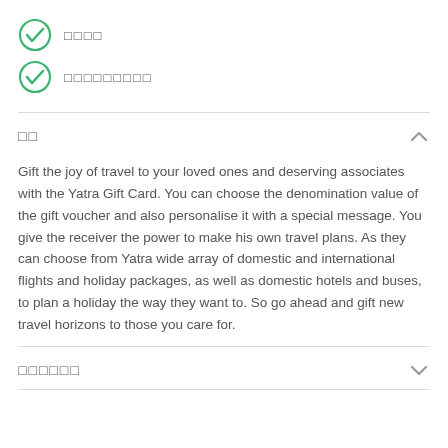□□□□
□□□□□□□□□
□□
Gift the joy of travel to your loved ones and deserving associates with the Yatra Gift Card. You can choose the denomination value of the gift voucher and also personalise it with a special message. You give the receiver the power to make his own travel plans. As they can choose from Yatra wide array of domestic and international flights and holiday packages, as well as domestic hotels and buses, to plan a holiday the way they want to. So go ahead and gift new travel horizons to those you care for.
□□□□□□